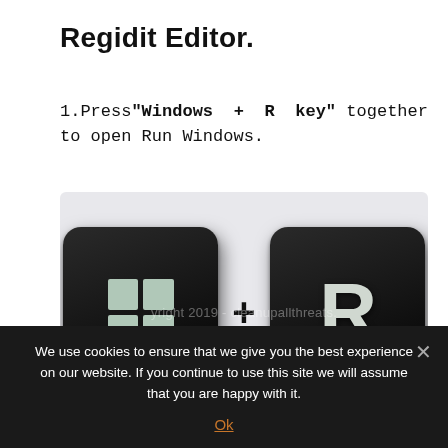Regidit Editor.
1.Press "Windows + R key" together to open Run Windows.
[Figure (screenshot): Two black keyboard keys: the Windows key (with Windows logo) and the R key, separated by a plus sign. A watermark reads 'yright 2019 - cleanupallthreats.' An upload/scroll button appears in the lower right corner.]
We use cookies to ensure that we give you the best experience on our website. If you continue to use this site we will assume that you are happy with it.
Ok